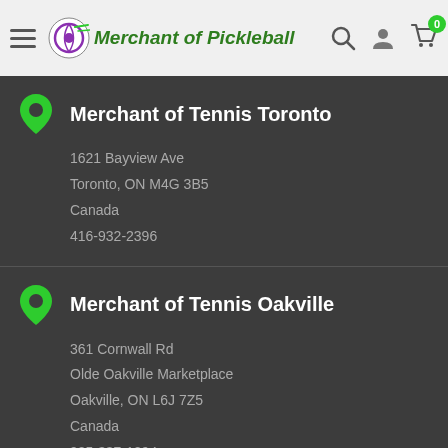Merchant of Pickleball — navigation header with hamburger menu, logo, search, account, and cart icons
Merchant of Tennis Toronto
1621 Bayview Ave
Toronto, ON M4G 3B5
Canada
416-932-2396
Merchant of Tennis Oakville
361 Cornwall Rd
Olde Oakville Marketplace
Oakville, ON L6J 7Z5
Canada
905-337-1294
Current Store Hours
Click to view